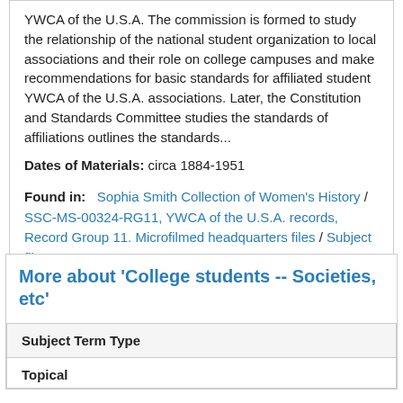YWCA of the U.S.A. The commission is formed to study the relationship of the national student organization to local associations and their role on college campuses and make recommendations for basic standards for affiliated student YWCA of the U.S.A. associations. Later, the Constitution and Standards Committee studies the standards of affiliations outlines the standards...
Dates of Materials: circa 1884-1951
Found in:   Sophia Smith Collection of Women's History / SSC-MS-00324-RG11, YWCA of the U.S.A. records, Record Group 11. Microfilmed headquarters files / Subject files
More about 'College students -- Societies, etc'
| Subject Term Type |
| --- |
| Topical |